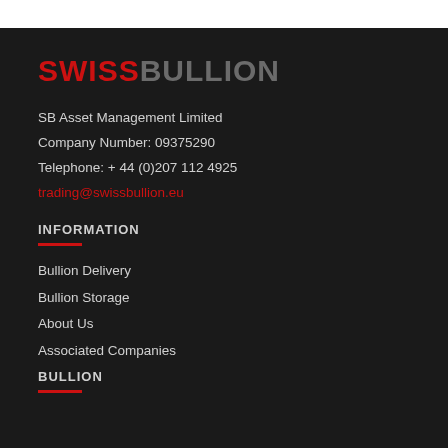[Figure (logo): SwissBullion logo — SWISS in red bold, BULLION in grey bold, all caps]
SB Asset Management Limited
Company Number: 09375290
Telephone: + 44 (0)207 112 4925
trading@swissbullion.eu
INFORMATION
Bullion Delivery
Bullion Storage
About Us
Associated Companies
BULLION